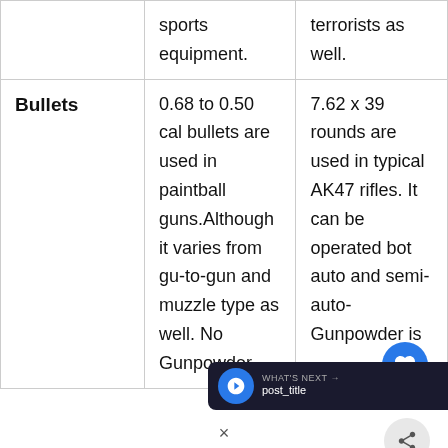|  |  |  |
| --- | --- | --- |
|  | sports equipment. | terrorists as well. |
| Bullets | 0.68 to 0.50 cal bullets are used in paintball guns.Although it varies from gu-to-gun and muzzle type as well. No Gunpowder | 7.62 x 39 rounds are used in typical AK47 rifles. It can be operated bot auto and semi-auto Gunpowder is |